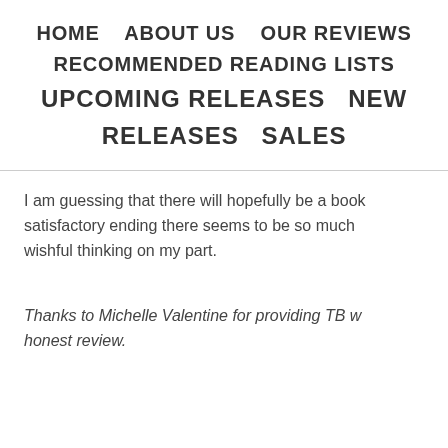HOME   ABOUT US   OUR REVIEWS   RECOMMENDED READING LISTS   UPCOMING RELEASES   NEW RELEASES   SALES
I am guessing that there will hopefully be a book satisfactory ending there seems to be so much wishful thinking on my part.
Thanks to Michelle Valentine for providing TB w honest review.